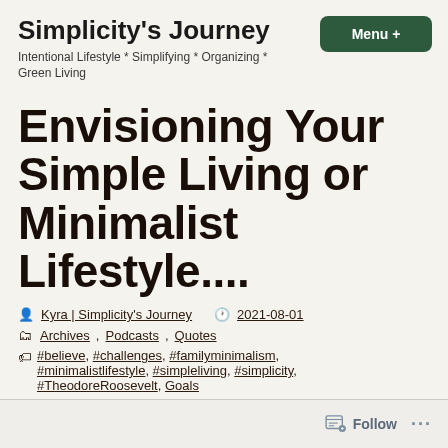Simplicity's Journey
Intentional Lifestyle * Simplifying * Organizing * Green Living
Envisioning Your Simple Living or Minimalist Lifestyle....
Kyra | Simplicity's Journey  2021-08-01  Archives, Podcasts, Quotes  #believe, #challenges, #familyminimalism, #minimalistlifestyle, #simpleliving, #simplicity, #TheodoreRoosevelt, Goals
Follow